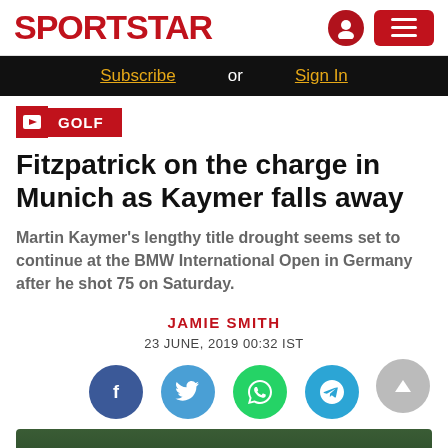SPORTSTAR
Subscribe or Sign In
GOLF
Fitzpatrick on the charge in Munich as Kaymer falls away
Martin Kaymer's lengthy title drought seems set to continue at the BMW International Open in Germany after he shot 75 on Saturday.
JAMIE SMITH
23 JUNE, 2019 00:32 IST